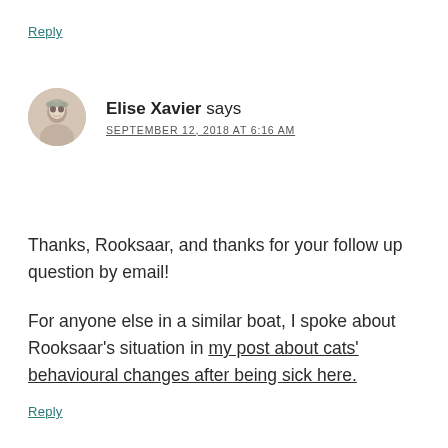Reply
[Figure (photo): Circular avatar photo of Elise Xavier]
Elise Xavier says
SEPTEMBER 12, 2018 AT 6:16 AM
Thanks, Rooksaar, and thanks for your follow up question by email!
For anyone else in a similar boat, I spoke about Rooksaar's situation in my post about cats' behavioural changes after being sick here.
Reply